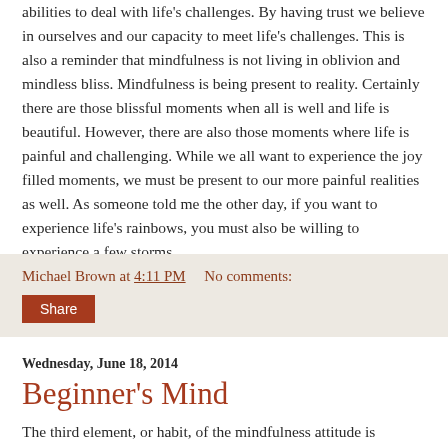abilities to deal with life's challenges. By having trust we believe in ourselves and our capacity to meet life's challenges. This is also a reminder that mindfulness is not living in oblivion and mindless bliss. Mindfulness is being present to reality. Certainly there are those blissful moments when all is well and life is beautiful. However, there are also those moments where life is painful and challenging. While we all want to experience the joy filled moments, we must be present to our more painful realities as well. As someone told me the other day, if you want to experience life's rainbows, you must also be willing to experience a few storms.
Michael Brown at 4:11 PM   No comments:
Share
Wednesday, June 18, 2014
Beginner's Mind
The third element, or habit, of the mindfulness attitude is “Beginner’s Mind”. What is beginner’s mind? It is “having the